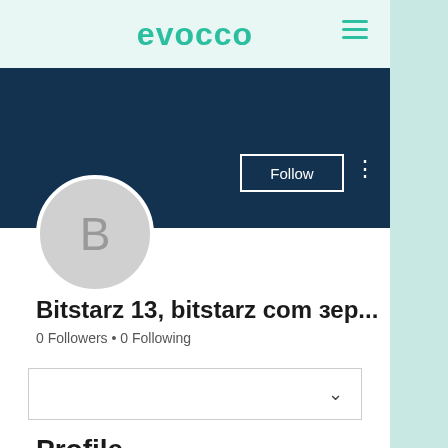evocco
[Figure (screenshot): Dark navy blue profile banner/cover image area]
Follow
[Figure (illustration): Circular avatar with letter B on gray background]
Bitstarz 13, bitstarz com зер...
0 Followers • 0 Following
Profile
Join date: Jun 19, 2022